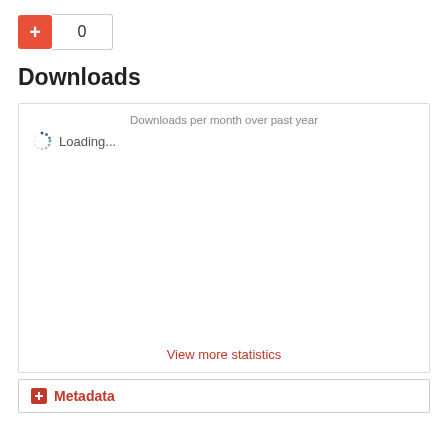[Figure (infographic): Red plus button with a count box showing 0]
Downloads
[Figure (other): Downloads per month over past year chart area with loading spinner and 'Loading...' text, and 'View more statistics' link at bottom]
Metadata